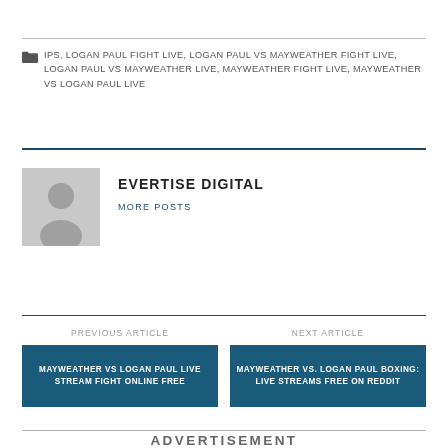IPS, LOGAN PAUL FIGHT LIVE, LOGAN PAUL VS MAYWEATHER FIGHT LIVE, LOGAN PAUL VS MAYWEATHER LIVE, MAYWEATHER FIGHT LIVE, MAYWEATHER VS LOGAN PAUL LIVE
[Figure (illustration): Grey avatar silhouette placeholder image for author profile]
EVERTISE DIGITAL
MORE POSTS
PREVIOUS ARTICLE
MAYWEATHER VS LOGAN PAUL LIVE STREAM FIGHT ONLINE FREE
NEXT ARTICLE
MAYWEATHER VS. LOGAN PAUL BOXING: LIVE STREAMS FREE ON REDDIT
ADVERTISEMENT